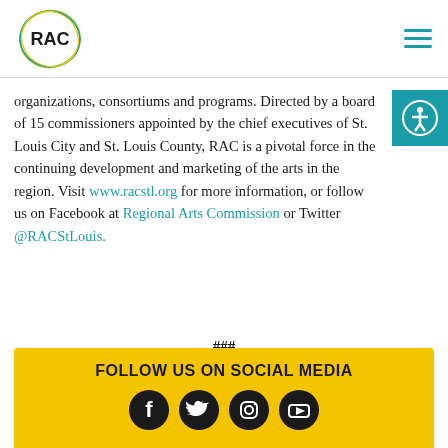RAC logo and navigation
organizations, consortiums and programs. Directed by a board of 15 commissioners appointed by the chief executives of St. Louis City and St. Louis County, RAC is a pivotal force in the continuing development and marketing of the arts in the region. Visit www.racstl.org for more information, or follow us on Facebook at Regional Arts Commission or Twitter @RACStLouis.
###
FOLLOW US ON SOCIAL MEDIA